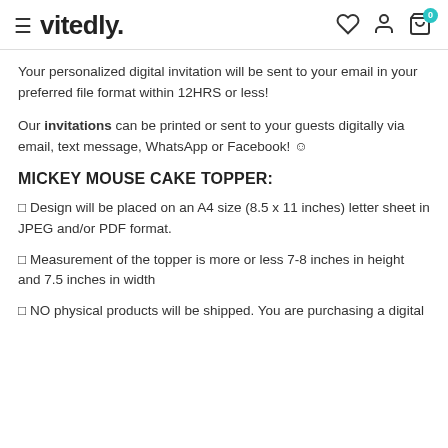vitedly.
Your personalized digital invitation will be sent to your email in your preferred file format within 12HRS or less!
Our invitations can be printed or sent to your guests digitally via email, text message, WhatsApp or Facebook! ☺
MICKEY MOUSE CAKE TOPPER:
▢ Design will be placed on an A4 size (8.5 x 11 inches) letter sheet in JPEG and/or PDF format.
▢ Measurement of the topper is more or less 7-8 inches in height and 7.5 inches in width
▢ NO physical products will be shipped. You are purchasing a digital